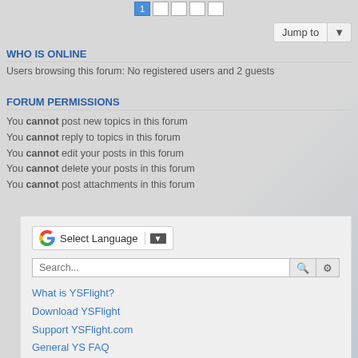WHO IS ONLINE
Users browsing this forum: No registered users and 2 guests
FORUM PERMISSIONS
You cannot post new topics in this forum
You cannot reply to topics in this forum
You cannot edit your posts in this forum
You cannot delete your posts in this forum
You cannot post attachments in this forum
[Figure (screenshot): Google Translate widget with 'Select Language' dropdown and arrow button]
Search...
What is YSFlight?
Download YSFlight
Support YSFlight.com
General YS FAQ
YSFlight Wiki
YSFlight Wishlist
Multiplayer
Joining A Server